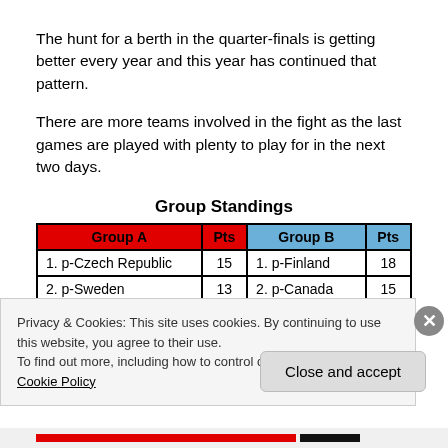The hunt for a berth in the quarter-finals is getting better every year and this year has continued that pattern.
There are more teams involved in the fight as the last games are played with plenty to play for in the next two days.
Group Standings
| Group A | Pts | Group B | Pts |
| --- | --- | --- | --- |
| 1. p-Czech Republic | 15 | 1. p-Finland | 18 |
| 2. p-Sweden | 13 | 2. p-Canada | 15 |
| 3. p-Russia | 12 | 3. p-Germany | 10 |
| 4. Switzerland | 8 | 4. USA | 0 |
Privacy & Cookies: This site uses cookies. By continuing to use this website, you agree to their use.
To find out more, including how to control cookies, see here: Cookie Policy